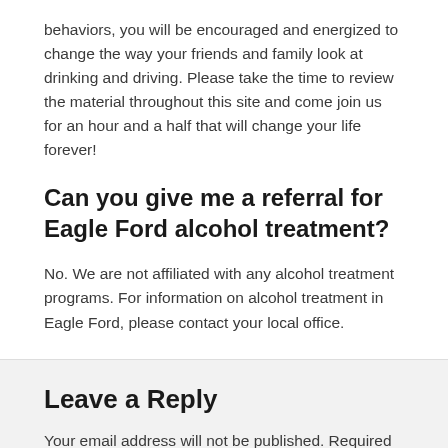behaviors, you will be encouraged and energized to change the way your friends and family look at drinking and driving. Please take the time to review the material throughout this site and come join us for an hour and a half that will change your life forever!
Can you give me a referral for Eagle Ford alcohol treatment?
No. We are not affiliated with any alcohol treatment programs. For information on alcohol treatment in Eagle Ford, please contact your local office.
Leave a Reply
Your email address will not be published. Required fields are marked *